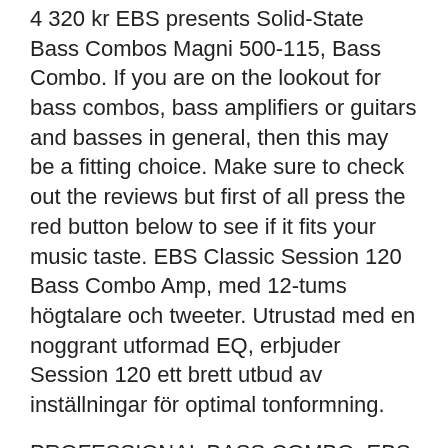4 320 kr EBS presents Solid-State Bass Combos Magni 500-115, Bass Combo. If you are on the lookout for bass combos, bass amplifiers or guitars and basses in general, then this may be a fitting choice. Make sure to check out the reviews but first of all press the red button below to see if it fits your music taste. EBS Classic Session 120 Bass Combo Amp, med 12-tums högtalare och tweeter. Utrustad med en noggrant utformad EQ, erbjuder Session 120 ett brett utbud av inställningar för optimal tonformning.
PROFESSIONAL BASS COMBO. EBS-300. MADE IN SWEDEN BY EBS POWER AMP/CABINET SAMPLE SOUND SETTINGS. Köp ebs session 60 bass combo with 10.
Manne af klintberg jude